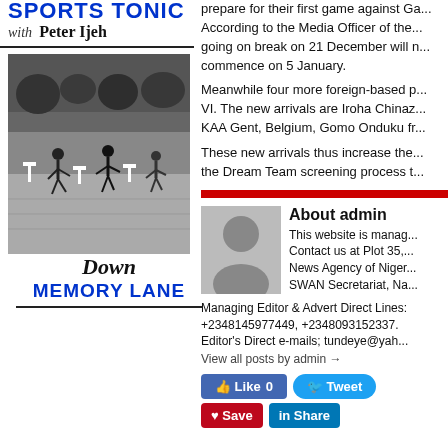SPORTS TONIC with Peter Ijeh
[Figure (photo): Black and white photograph of athletes running hurdles in a stadium with spectators]
Down MEMORY LANE
prepare for their first game against Ga... According to the Media Officer of the... going on break on 21 December will... commence on 5 January.
Meanwhile four more foreign-based p... VI. The new arrivals are Iroha Chinaz... KAA Gent, Belgium, Gomo Onduku fr...
These new arrivals thus increase the... the Dream Team screening process t...
About admin
[Figure (photo): Gray avatar placeholder silhouette icon]
This website is manag... Contact us at Plot 35,... News Agency of Niger... SWAN Secretariat, Na... Managing Editor & Advert Direct Lines: +2348145977449, +2348093152337. Editor's Direct e-mails; tundeye@yah...
View all posts by admin →